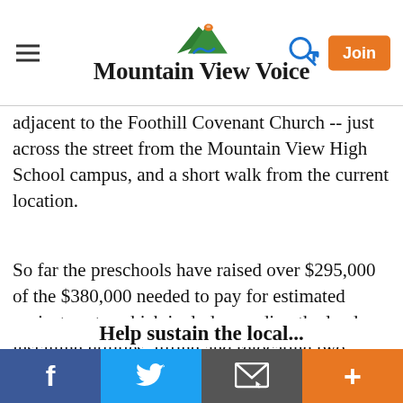Mountain View Voice
adjacent to the Foothill Covenant Church -- just across the street from the Mountain View High School campus, and a short walk from the current location.
So far the preschools have raised over $295,000 of the $380,000 needed to pay for estimated project costs, which includes grading the land, installing utilities, lifting and relocating two portable classrooms and installing a third classroom at the new site. The fundraising goal jumped from $200,000 to nearly double in June after they lost an expected line of credit.
Help sustain the local...